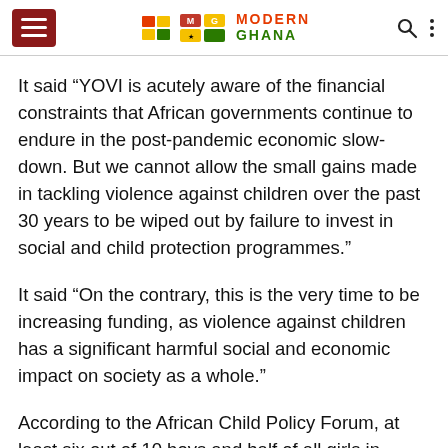Modern Ghana
It said “YOVI is acutely aware of the financial constraints that African governments continue to endure in the post-pandemic economic slow-down. But we cannot allow the small gains made in tackling violence against children over the past 30 years to be wiped out by failure to invest in social and child protection programmes.”
It said “On the contrary, this is the very time to be increasing funding, as violence against children has a significant harmful social and economic impact on society as a whole.”
According to the African Child Policy Forum, at least six out of 10 boys and half of all girls in Africa experience